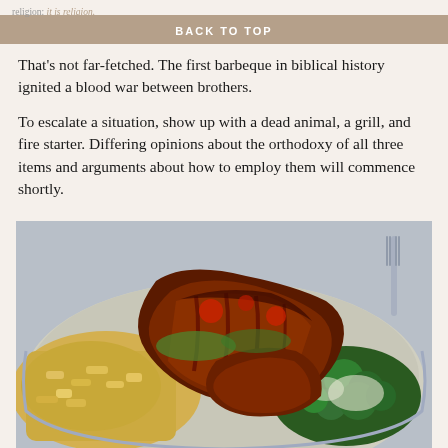religion: it is religion. BACK TO TOP
That's not far-fetched. The first barbeque in biblical history ignited a blood war between brothers.
To escalate a situation, show up with a dead animal, a grill, and fire starter. Differing opinions about the orthodoxy of all three items and arguments about how to employ them will commence shortly.
[Figure (photo): Close-up photo of barbecued meat ribs on a plate with broccoli, cheese pasta/mac and cheese on a light blue plate, shot from above at an angle.]